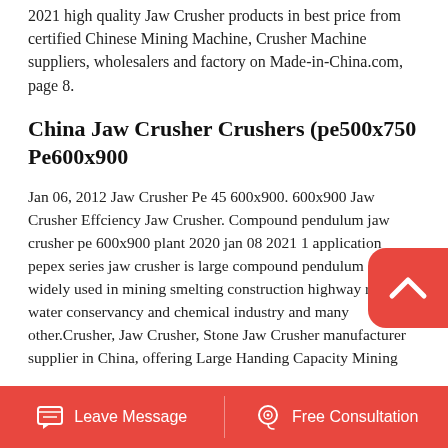2021 high quality Jaw Crusher products in best price from certified Chinese Mining Machine, Crusher Machine suppliers, wholesalers and factory on Made-in-China.com, page 8.
China Jaw Crusher Crushers (pe500x750 Pe600x900
Jan 06, 2012 Jaw Crusher Pe 45 600x900. 600x900 Jaw Crusher Effciency Jaw Crusher. Compound pendulum jaw crusher pe 600x900 plant 2020 jan 08 2021 1 application pepex series jaw crusher is large compound pendulum crusher widely used in mining smelting construction highway railway water conservancy and chemical industry and many other.Crusher, Jaw Crusher, Stone Jaw Crusher manufacturer supplier in China, offering Large Handing Capacity Mining
Leave Message   Free Consultation